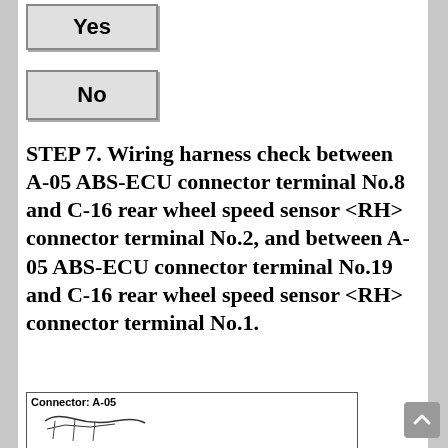Yes
No
STEP 7. Wiring harness check between A-05 ABS-ECU connector terminal No.8 and C-16 rear wheel speed sensor <RH> connector terminal No.2, and between A-05 ABS-ECU connector terminal No.19 and C-16 rear wheel speed sensor <RH> connector terminal No.1.
[Figure (engineering-diagram): Connector A-05 diagram showing connector terminals with sketch illustration]